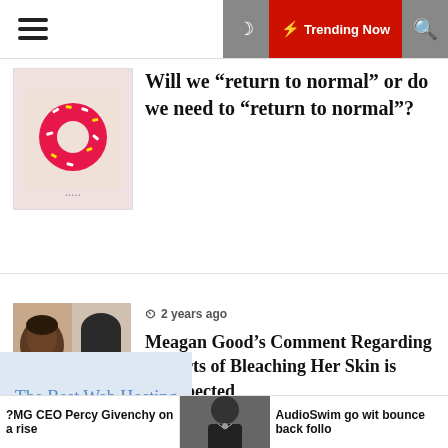Trending Now
Will we “return to normal” or do we need to “return to normal”?
2 years ago
Meagan Good’s Comment Regarding Reports of Bleaching Her Skin is Unexpected
The Best Web Hosting
?MG CEO Percy Givenchy on a rise
AudioSwim go with bounce back follo